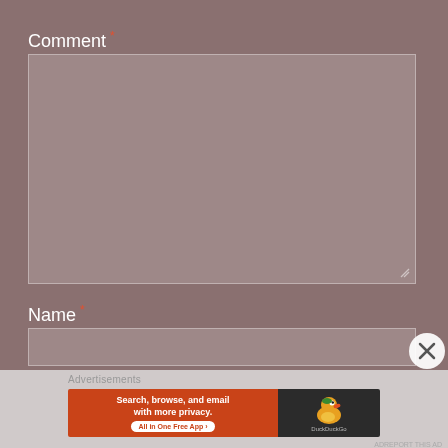Comment *
[Figure (screenshot): Large textarea input field with grey background and resize handle in bottom-right corner]
Name *
[Figure (screenshot): Single-line text input field with grey background]
[Figure (screenshot): Close (X) button circle overlay]
Advertisements
[Figure (screenshot): DuckDuckGo advertisement banner: orange left panel with text 'Search, browse, and email with more privacy. All in One Free App', dark right panel with DuckDuckGo duck logo and brand name]
ADREPORT THIS AD